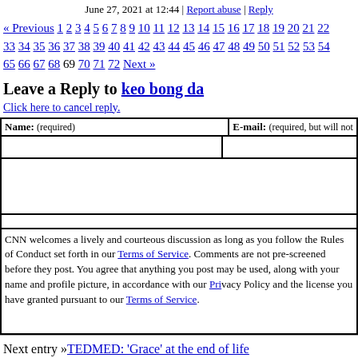June 27, 2021 at 12:44 | Report abuse | Reply
« Previous 1 2 3 4 5 6 7 8 9 10 11 12 13 14 15 16 17 18 19 20 21 22 33 34 35 36 37 38 39 40 41 42 43 44 45 46 47 48 49 50 51 52 53 54 65 66 67 68 69 70 71 72 Next »
Leave a Reply to keo bong da
Click here to cancel reply.
Name: (required) | E-mail: (required, but will not be displayed)
CNN welcomes a lively and courteous discussion as long as you follow the Rules of Conduct set forth in our Terms of Service. Comments are not pre-screened before they post. You agree that anything you post may be used, along with your name and profile picture, in accordance with our Privacy Policy and the license you have granted pursuant to our Terms of Service.
Next entry »TEDMED: 'Grace' at the end of life
« Previous entryOn the Brain: Inside autism